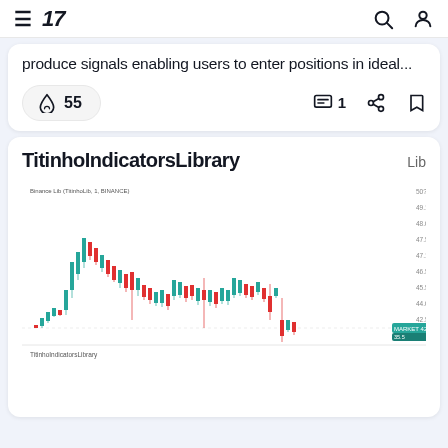TradingView
produce signals enabling users to enter positions in ideal...
🚀 55  💬 1  share  bookmark
TitinhoIndicatorsLibrary
Lib
[Figure (screenshot): Candlestick chart showing price action for a financial instrument (Binance Lib / Titinho?, 1, BINANCE) with teal/red candles. Price shows a rise to a peak then gradual decline, with a sharp drop near the right side. Y-axis shows values from approximately 40 to 50. A teal price label appears on the right side showing current price around 42.4. Below the main chart is a sub-panel labeled TitinhoIndicatorsLibrary.]